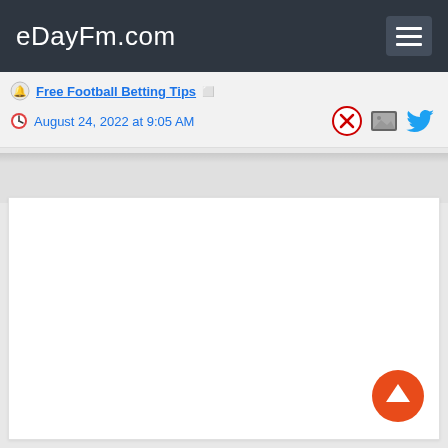eDayFm.com
Free Football Betting Tips
August 24, 2022 at 9:05 AM
[Figure (other): White content area placeholder]
[Figure (other): Orange circular up-arrow FAB button]